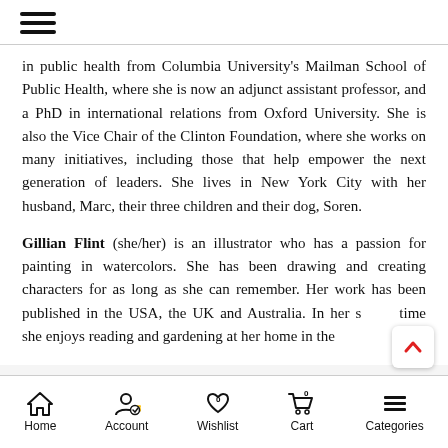≡ (hamburger menu icon)
in public health from Columbia University's Mailman School of Public Health, where she is now an adjunct assistant professor, and a PhD in international relations from Oxford University. She is also the Vice Chair of the Clinton Foundation, where she works on many initiatives, including those that help empower the next generation of leaders. She lives in New York City with her husband, Marc, their three children and their dog, Soren.
Gillian Flint (she/her) is an illustrator who has a passion for painting in watercolors. She has been drawing and creating characters for as long as she can remember. Her work has been published in the USA, the UK and Australia. In her spare time she enjoys reading and gardening at her home in the...
Home | Account | Wishlist 0 | Cart 0 | Categories